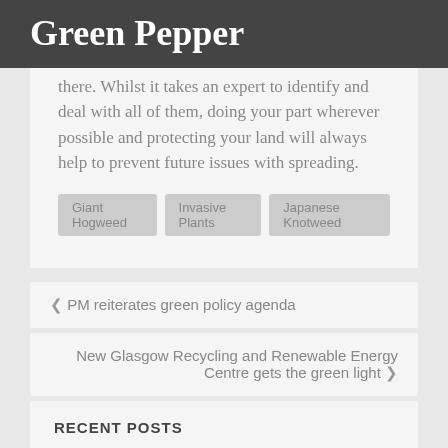Green Pepper
there. Whilst it takes an expert to identify and deal with all of them, doing your part wherever possible and protecting your land will always help to prevent future issues with spreading.
Giant Hogweed
Invasive Plants
Japanese Knotweed
‹ PM reiterates green policy agenda
New Glasgow Recycling and Renewable Energy Centre gets the green light ›
RECENT POSTS
Solar Panels